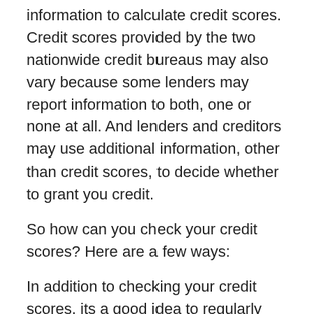information to calculate credit scores. Credit scores provided by the two nationwide credit bureaus may also vary because some lenders may report information to both, one or none at all. And lenders and creditors may use additional information, other than credit scores, to decide whether to grant you credit.
So how can you check your credit scores? Here are a few ways:
In addition to checking your credit scores, its a good idea to regularly check your credit reports to ensure that the information is accurate and complete.
Read Also: What Credit Report Does Paypal Pull